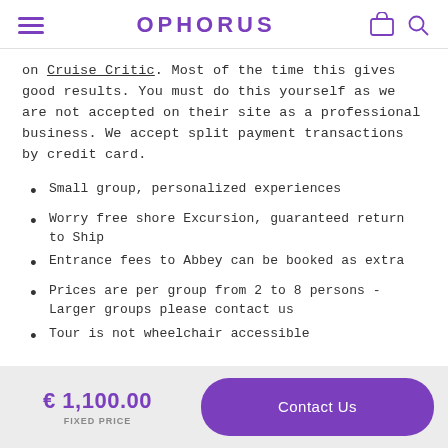OPHORUS
on Cruise Critic. Most of the time this gives good results. You must do this yourself as we are not accepted on their site as a professional business. We accept split payment transactions by credit card.
Small group, personalized experiences
Worry free shore Excursion, guaranteed return to Ship
Entrance fees to Abbey can be booked as extra
Prices are per group from 2 to 8 persons - Larger groups please contact us
Tour is not wheelchair accessible
COVID-19 SAFETY MEASURES
allery   Know before   Meeting point   Reviews
€ 1,100.00 FIXED PRICE
Contact Us